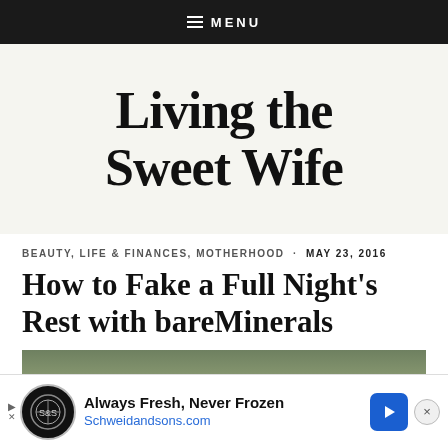≡ MENU
Living the Sweet Wife
BEAUTY, LIFE & FINANCES, MOTHERHOOD · MAY 23, 2016
How to Fake a Full Night's Rest with bareMinerals
[Figure (photo): Partial photo visible at bottom of page, muted green tones, person partially visible]
[Figure (other): Advertisement banner: Always Fresh, Never Frozen — Schweidandsons.com]